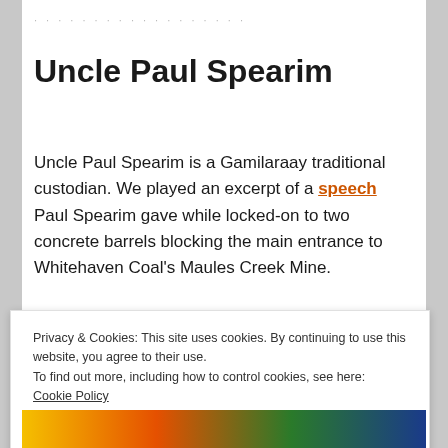· · · · · · · · · · · · · · · · · · · ·
Uncle Paul Spearim
Uncle Paul Spearim is a Gamilaraay traditional custodian. We played an excerpt of a speech Paul Spearim gave while locked-on to two concrete barrels blocking the main entrance to Whitehaven Coal's Maules Creek Mine.
Privacy & Cookies: This site uses cookies. By continuing to use this website, you agree to their use.
To find out more, including how to control cookies, see here: Cookie Policy
[Figure (photo): Partial view of a photo showing people in colorful clothing at the bottom of the page]